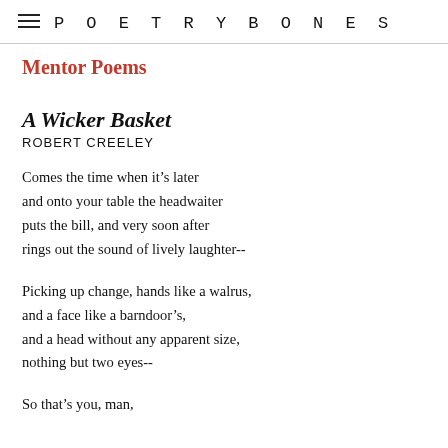POETRYBONES
Mentor Poems
A Wicker Basket
ROBERT CREELEY
Comes the time when it’s later
and onto your table the headwaiter
puts the bill, and very soon after
rings out the sound of lively laughter--
Picking up change, hands like a walrus,
and a face like a barndoor’s,
and a head without any apparent size,
nothing but two eyes--
So that’s you, man,